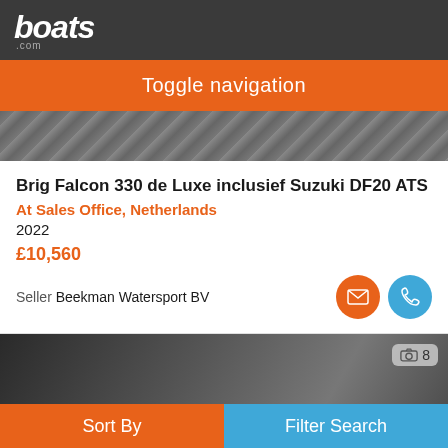boats.com
Toggle navigation
[Figure (photo): Partial view of a boat deck surface, dark textured material]
Brig Falcon 330 de Luxe inclusief Suzuki DF20 ATS
At Sales Office, Netherlands
2022
£10,560
Seller Beekman Watersport BV
[Figure (photo): Interior view of a boat with steering wheel and dashboard, building visible in background. Photo count badge showing 8.]
Sort By
Filter Search